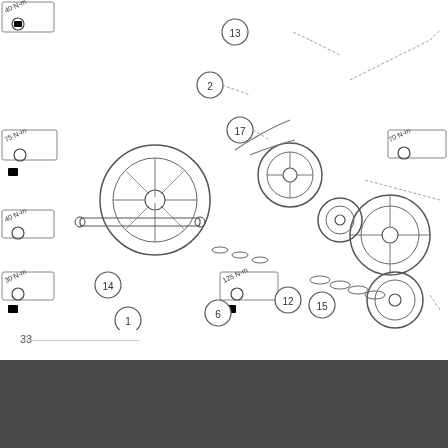[Figure (engineering-diagram): Exploded parts diagram of a wheel assembly for a vehicle or equipment, showing numbered components (1-17) with torque specifications (30 N-m, 40 N-m, 75 N-m, 125 N-m, 70 N-m) indicated with callout boxes and arrows. Components include wheels, hubs, axle hardware, washers, and fasteners connected by dashed leader lines.]
33
| Diagram |  |  |  |
| --- | --- | --- | --- |
| ID | Images | Part | Price |